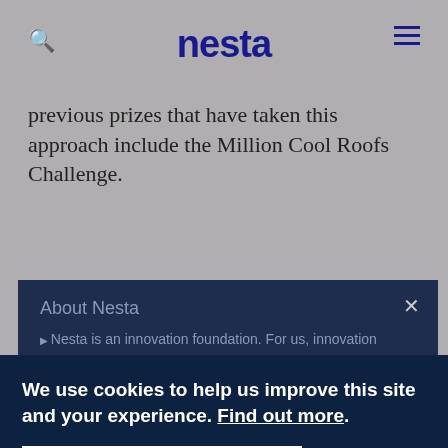nesta
previous prizes that have taken this approach include the Million Cool Roofs Challenge.
About Nesta
Nesta is an innovation foundation. For us, innovation
We use cookies to help us improve this site and your experience. Find out more.
Accept recommended cookies
Set cookie preferences